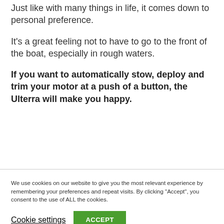Just like with many things in life, it comes down to personal preference.
It's a great feeling not to have to go to the front of the boat, especially in rough waters.
If you want to automatically stow, deploy and trim your motor at a push of a button, the Ulterra will make you happy.
We use cookies on our website to give you the most relevant experience by remembering your preferences and repeat visits. By clicking "Accept", you consent to the use of ALL the cookies.
Cookie settings
ACCEPT